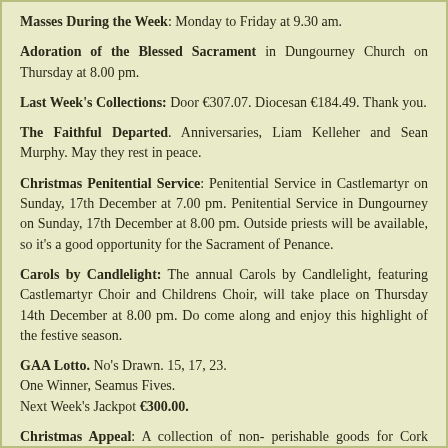Masses During the Week: Monday to Friday at 9.30 am.
Adoration of the Blessed Sacrament in Dungourney Church on Thursday at 8.00 pm.
Last Week's Collections: Door €307.07. Diocesan €184.49. Thank you.
The Faithful Departed. Anniversaries, Liam Kelleher and Sean Murphy. May they rest in peace.
Christmas Penitential Service: Penitential Service in Castlemartyr on Sunday, 17th December at 7.00 pm. Penitential Service in Dungourney on Sunday, 17th December at 8.00 pm. Outside priests will be available, so it's a good opportunity for the Sacrament of Penance.
Carols by Candlelight: The annual Carols by Candlelight, featuring Castlemartyr Choir and Childrens Choir, will take place on Thursday 14th December at 8.00 pm. Do come along and enjoy this highlight of the festive season.
GAA Lotto. No's Drawn. 15, 17, 23. One Winner, Seamus Fives. Next Week's Jackpot €300.00.
Christmas Appeal: A collection of non- perishable goods for Cork Penny Dinners will be made at the masses on Christmas Eve night in Dungourney and Christmas Day in Clonmult. You are asked to place whatever you wish to donate in one of the